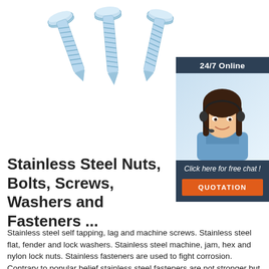[Figure (photo): Three stainless steel self-drilling screws with blue/silver zinc coating arranged diagonally on white background]
[Figure (photo): 24/7 Online customer service widget with woman wearing headset and chat/quotation buttons]
Stainless Steel Nuts, Bolts, Screws, Washers and Fasteners ...
Stainless steel self tapping, lag and machine screws. Stainless steel flat, fender and lock washers. Stainless steel machine, jam, hex and nylon lock nuts. Stainless fasteners are used to fight corrosion. Contrary to popular belief stainless steel fasteners are not stronger but they do provide superior resistance to